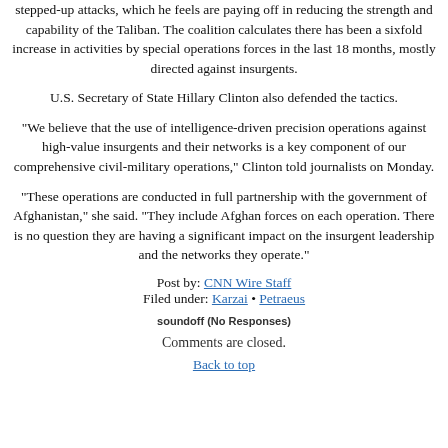stepped-up attacks, which he feels are paying off in reducing the strength and capability of the Taliban. The coalition calculates there has been a sixfold increase in activities by special operations forces in the last 18 months, mostly directed against insurgents.
U.S. Secretary of State Hillary Clinton also defended the tactics.
"We believe that the use of intelligence-driven precision operations against high-value insurgents and their networks is a key component of our comprehensive civil-military operations," Clinton told journalists on Monday.
"These operations are conducted in full partnership with the government of Afghanistan," she said. "They include Afghan forces on each operation. There is no question they are having a significant impact on the insurgent leadership and the networks they operate."
Post by: CNN Wire Staff
Filed under: Karzai • Petraeus
soundoff (No Responses)
Comments are closed.
Back to top ↑